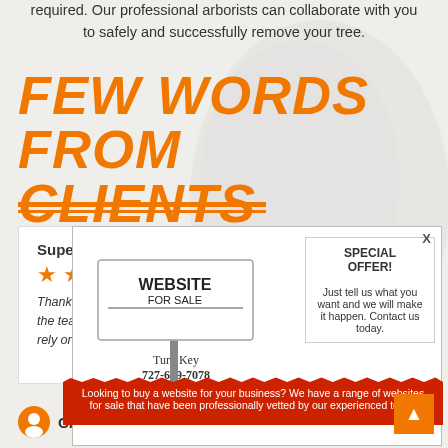required. Our professional arborists can collaborate with you to safely and successfully remove your tree.
FEW WORDS FROM CLIENTS
[Figure (screenshot): Popup advertisement overlay showing a real estate sign with 'WEBSITE FOR SALE - Turn Key 727-639-7078', a Special Offer box, and a red torn-paper banner saying 'Looking to buy a website for your business? We have a range of websites for sale that have been professionally vetted by our experienced team.']
Super
★★★
Thank you ... ises to the team ... w I can rely on a ... ntly.
Charity Williams